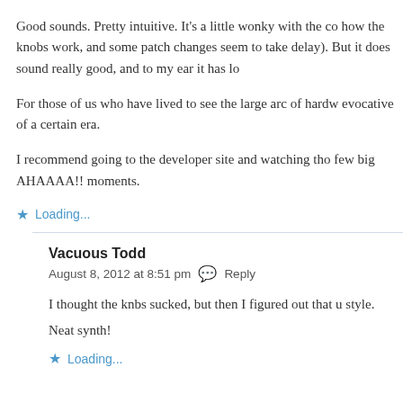Good sounds. Pretty intuitive. It's a little wonky with the co how the knobs work, and some patch changes seem to take delay). But it does sound really good, and to my ear it has lo
For those of us who have lived to see the large arc of hardw evocative of a certain era.
I recommend going to the developer site and watching tho few big AHAAAA!! moments.
Loading...
Vacuous Todd
August 8, 2012 at 8:51 pm  Reply
I thought the knbs sucked, but then I figured out that u style.
Neat synth!
Loading...